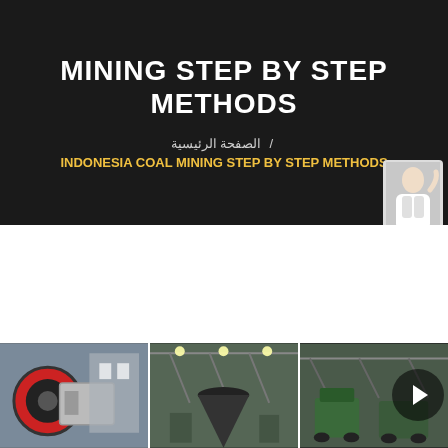MINING STEP BY STEP METHODS
الصفحة الرئيسية  /  INDONESIA COAL MINING STEP BY STEP METHODS
[Figure (photo): Chat widget with person icon and 'Free chat' button]
[Figure (photo): Three industrial mining equipment photos side by side: jaw crusher, cone crusher, and mining equipment in factory]
[Figure (photo): Navigation arrow button overlay]